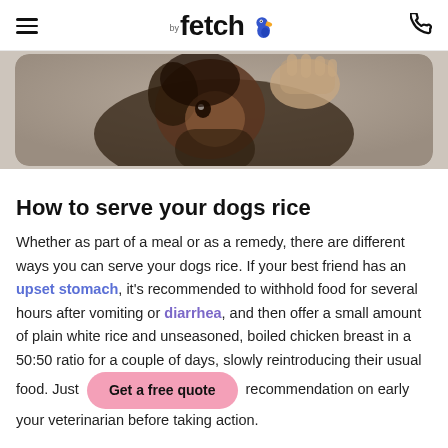fetch by fetch (logo with toucan bird icon) and phone icon
[Figure (photo): A dog being hugged by a person, photographed from above, warm tones, rounded rectangle crop]
How to serve your dogs rice
Whether as part of a meal or as a remedy, there are different ways you can serve your dogs rice. If your best friend has an upset stomach, it's recommended to withhold food for several hours after vomiting or diarrhea, and then offer a small amount of plain white rice and unseasoned, boiled chicken breast in a 50:50 ratio for a couple of days, slowly reintroducing their usual food. Just [Get a free quote] recommendation on early your veterinarian before taking action.